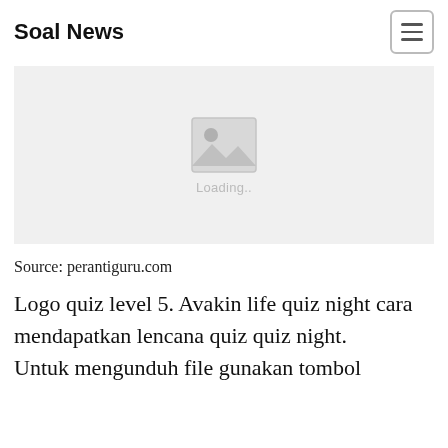Soal News
[Figure (photo): Image placeholder with loading icon and 'Loading..' text on a light grey background]
Source: perantiguru.com
Logo quiz level 5. Avakin life quiz night cara mendapatkan lencana quiz quiz night. Untuk mengunduh file gunakan tombol